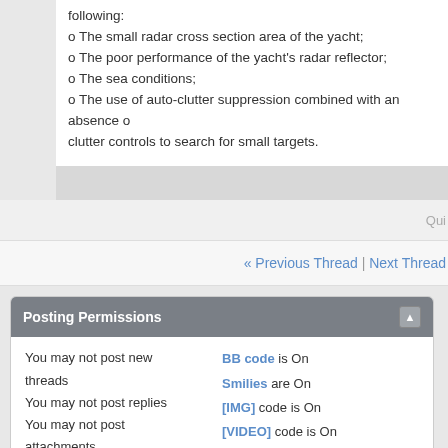o The small radar cross section area of the yacht;
o The poor performance of the yacht's radar reflector;
o The sea conditions;
o The use of auto-clutter suppression combined with an absence o clutter controls to search for small targets.
« Previous Thread | Next Thread »
Posting Permissions
You may not post new threads
You may not post replies
You may not post attachments
You may not edit your posts
BB code is On
Smilies are On
[IMG] code is On
[VIDEO] code is On
HTML code is Off
Forum Rules